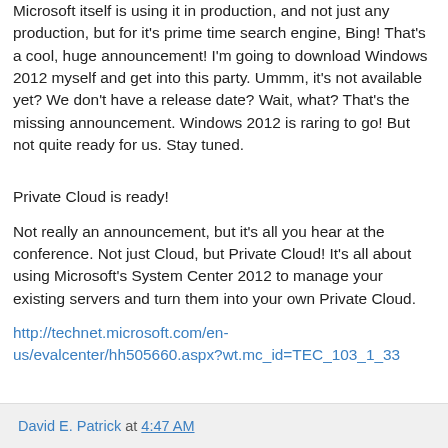Microsoft itself is using it in production, and not just any production, but for it's prime time search engine, Bing! That's a cool, huge announcement! I'm going to download Windows 2012 myself and get into this party. Ummm, it's not available yet? We don't have a release date? Wait, what? That's the missing announcement. Windows 2012 is raring to go! But not quite ready for us. Stay tuned.
Private Cloud is ready!
Not really an announcement, but it's all you hear at the conference. Not just Cloud, but Private Cloud! It's all about using Microsoft's System Center 2012 to manage your existing servers and turn them into your own Private Cloud.
http://technet.microsoft.com/en-us/evalcenter/hh505660.aspx?wt.mc_id=TEC_103_1_33
David E. Patrick at 4:47 AM